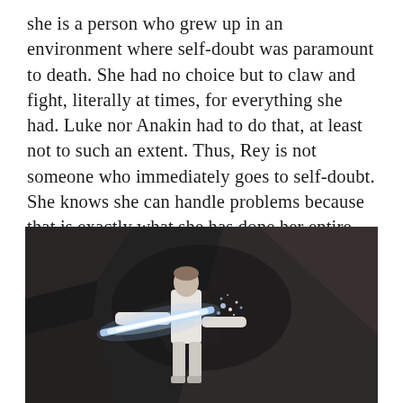she is a person who grew up in an environment where self-doubt was paramount to death. She had no choice but to claw and fight, literally at times, for everything she had. Luke nor Anakin had to do that, at least not to such an extent. Thus, Rey is not someone who immediately goes to self-doubt. She knows she can handle problems because that is exactly what she has done her entire life. Confidence has been her survival mechanism for over a decade.
[Figure (photo): A person in white clothing standing in a dark cave, holding a glowing lightsaber with blue/white light, rocky walls visible in background.]